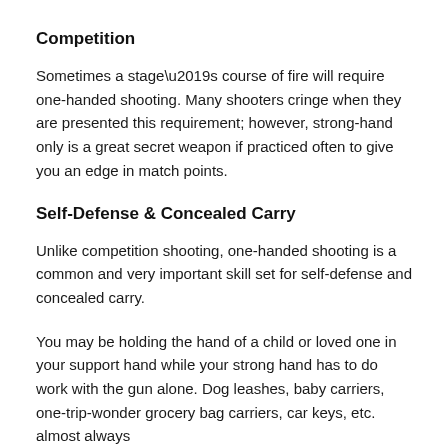Competition
Sometimes a stage’s course of fire will require one-handed shooting. Many shooters cringe when they are presented this requirement; however, strong-hand only is a great secret weapon if practiced often to give you an edge in match points.
Self-Defense & Concealed Carry
Unlike competition shooting, one-handed shooting is a common and very important skill set for self-defense and concealed carry.
You may be holding the hand of a child or loved one in your support hand while your strong hand has to do work with the gun alone. Dog leashes, baby carriers, one-trip-wonder grocery bag carriers, car keys, etc. almost always